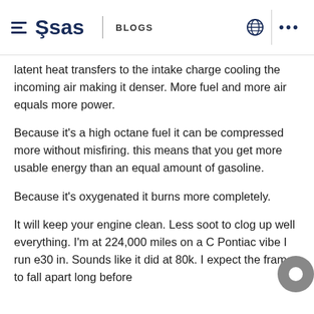SAS BLOGS
latent heat transfers to the intake charge cooling the incoming air making it denser. More fuel and more air equals more power.
Because it's a high octane fuel it can be compressed more without misfiring. this means that you get more usable energy than an equal amount of gasoline.
Because it's oxygenated it burns more completely.
It will keep your engine clean. Less soot to clog up well everything. I'm at 224,000 miles on a C Pontiac vibe I run e30 in. Sounds like it did at 80k. I expect the frame to fall apart long before the engine does.